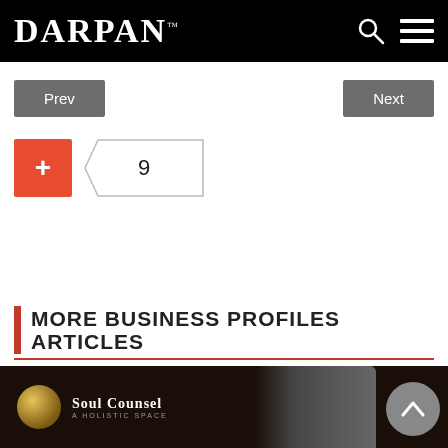DARPAN™
Prev
Next
+ 9
MORE BUSINESS PROFILES ARTICLES
[Figure (photo): Soul Counsel logo and person in dark hat against dark background]